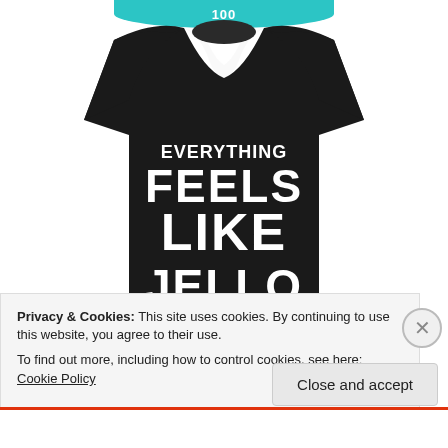[Figure (photo): Black racerback tank top with white bold text reading: EVERYTHING FEELS LIKE JELLO BUT IT'S FINE, displayed on a white background with a teal curved banner at top]
Privacy & Cookies: This site uses cookies. By continuing to use this website, you agree to their use.
To find out more, including how to control cookies, see here: Cookie Policy
Close and accept